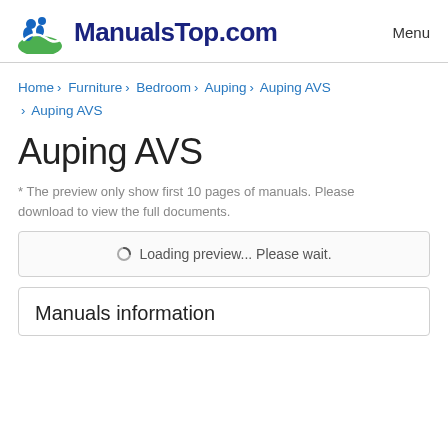ManualsTop.com  Menu
Home › Furniture › Bedroom › Auping › Auping AVS › Auping AVS
Auping AVS
* The preview only show first 10 pages of manuals. Please download to view the full documents.
Loading preview... Please wait.
Manuals information